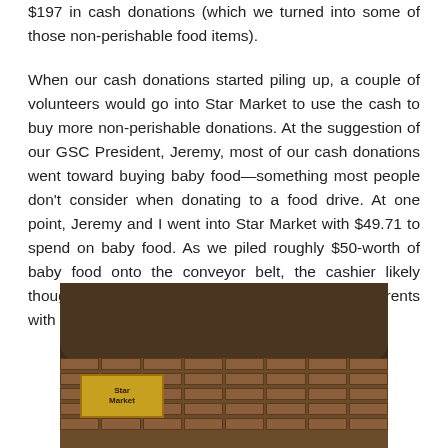$197 in cash donations (which we turned into some of those non-perishable food items).
When our cash donations started piling up, a couple of volunteers would go into Star Market to use the cash to buy more non-perishable donations. At the suggestion of our GSC President, Jeremy, most of our cash donations went toward buying baby food—something most people don't consider when donating to a food drive. At one point, Jeremy and I went into Star Market with $49.71 to spend on baby food. As we piled roughly $50-worth of baby food onto the conveyor belt, the cashier likely thought Jeremy and I were young, struggling parents with multiples (triplets?).
[Figure (photo): Photo of the exterior of Star Market store, showing a dark curved canopy/awning, brick storefront, a store sign, and mountains/sky visible in the background.]